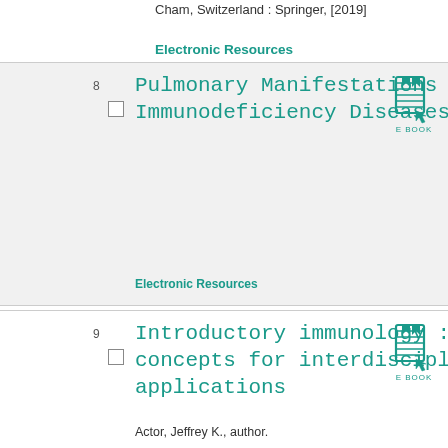Cham, Switzerland : Springer, [2019]
Electronic Resources
8  Pulmonary Manifestations of Primary Immunodeficiency Diseases  2019  E BOOK
Electronic Resources
9  Introductory immunology : basic concepts for interdisciplinary applications  2019  E BOOK
Actor, Jeffrey K., author.